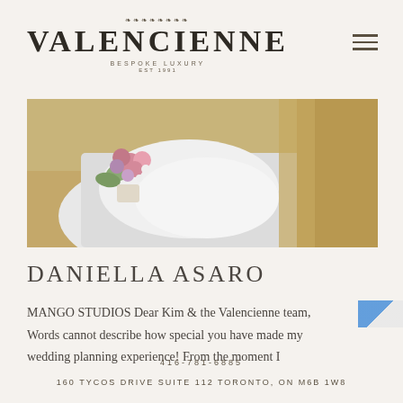VALENCIENNE BESPOKE LUXURY EST 1991
[Figure (photo): Wedding photo showing bride holding a bouquet of pink and purple flowers, wearing a white dress, outdoors on brown grass/ground.]
DANIELLA ASARO
MANGO STUDIOS Dear Kim & the Valencienne team, Words cannot describe how special you have made my wedding planning experience! From the moment I
416-781-6885
160 TYCOS DRIVE SUITE 112 TORONTO, ON M6B 1W8